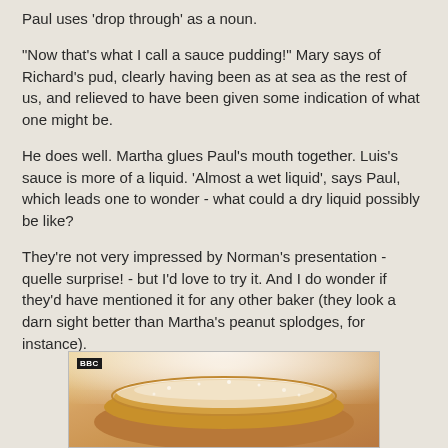Paul uses 'drop through' as a noun.
"Now that's what I call a sauce pudding!" Mary says of Richard's pud, clearly having been as at sea as the rest of us, and relieved to have been given some indication of what one might be.
He does well. Martha glues Paul's mouth together. Luis's sauce is more of a liquid. 'Almost a wet liquid', says Paul, which leads one to wonder - what could a dry liquid possibly be like?
They're not very impressed by Norman's presentation - quelle surprise! - but I'd love to try it. And I do wonder if they'd have mentioned it for any other baker (they look a darn sight better than Martha's peanut splodges, for instance).
[Figure (photo): A close-up photo of a baked dessert (pudding or cake) dusted with powdered sugar, with a BBC logo badge in the top-left corner.]